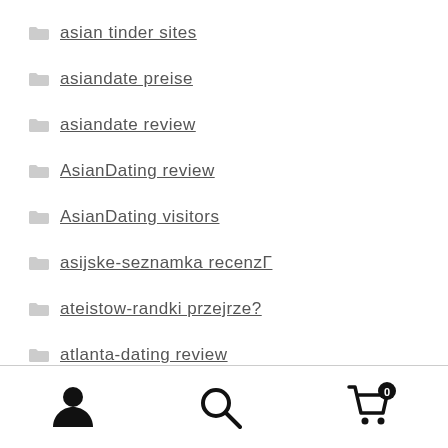asian tinder sites
asiandate preise
asiandate review
AsianDating review
AsianDating visitors
asijske-seznamka recenzΓ
ateistow-randki przejrze?
atlanta-dating review
augusta escort
austin eros escort
[Figure (infographic): Bottom navigation bar with three icons: person/user icon, search/magnifying glass icon, and shopping cart icon with a badge showing 0]